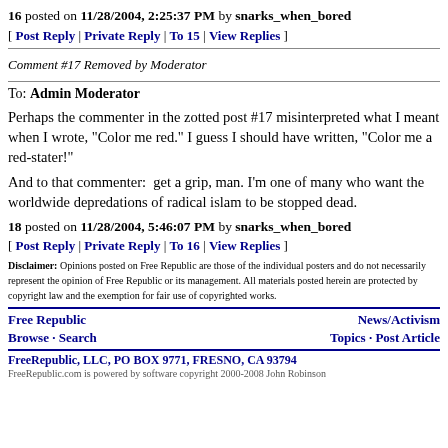16 posted on 11/28/2004, 2:25:37 PM by snarks_when_bored
[ Post Reply | Private Reply | To 15 | View Replies ]
Comment #17 Removed by Moderator
To: Admin Moderator
Perhaps the commenter in the zotted post #17 misinterpreted what I meant when I wrote, "Color me red." I guess I should have written, "Color me a red-stater!"
And to that commenter:  get a grip, man. I'm one of many who want the worldwide depredations of radical islam to be stopped dead.
18 posted on 11/28/2004, 5:46:07 PM by snarks_when_bored
[ Post Reply | Private Reply | To 16 | View Replies ]
Disclaimer: Opinions posted on Free Republic are those of the individual posters and do not necessarily represent the opinion of Free Republic or its management. All materials posted herein are protected by copyright law and the exemption for fair use of copyrighted works.
Free Republic   News/Activism
Browse · Search   Topics · Post Article
FreeRepublic, LLC, PO BOX 9771, FRESNO, CA 93794
FreeRepublic.com is powered by software copyright 2000-2008 John Robinson